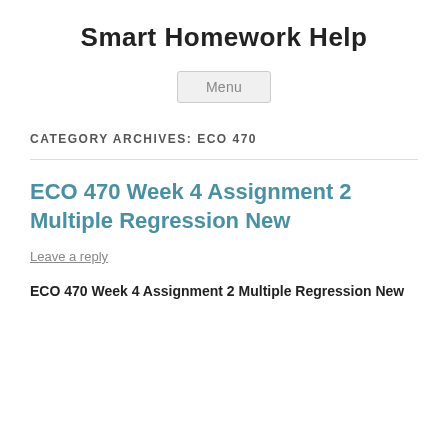Smart Homework Help
Menu
CATEGORY ARCHIVES: ECO 470
ECO 470 Week 4 Assignment 2 Multiple Regression New
Leave a reply
ECO 470 Week 4 Assignment 2 Multiple Regression New